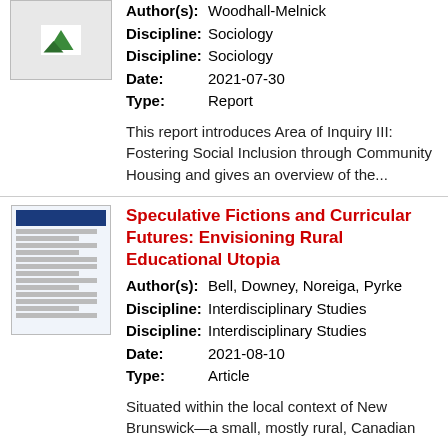[Figure (illustration): Small thumbnail image with a green mountain/hill icon on white background]
Author(s): Woodhall-Melnick
Discipline: Sociology
Discipline: Sociology
Date: 2021-07-30
Type: Report
This report introduces Area of Inquiry III: Fostering Social Inclusion through Community Housing and gives an overview of the...
[Figure (illustration): Small thumbnail of a document page with a dark blue header bar and text lines]
Speculative Fictions and Curricular Futures: Envisioning Rural Educational Utopia
Author(s): Bell, Downey, Noreiga, Pyrke
Discipline: Interdisciplinary Studies
Discipline: Interdisciplinary Studies
Date: 2021-08-10
Type: Article
Situated within the local context of New Brunswick—a small, mostly rural, Canadian